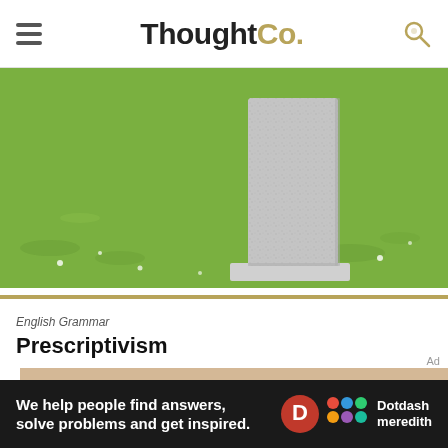ThoughtCo.
[Figure (photo): A gray granite tombstone or monument on green grass with small white flowers, photographed close-up showing the stone base.]
English Grammar
Prescriptivism
[Figure (photo): Word cloud with multilingual words for 'thank you' including hvala, shukran, kiitos, tack, and others in various colors and sizes.]
We help people find answers, solve problems and get inspired.